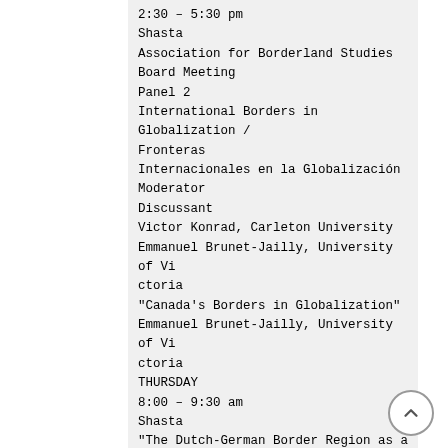2:30 – 5:30 pm
Shasta
Association for Borderland Studies Board Meeting
Panel 2
International Borders in Globalization / Fronteras Internacionales en la Globalización
Moderator
Discussant
Victor Konrad, Carleton University
Emmanuel Brunet-Jailly, University of Victoria
"Canada's Borders in Globalization"
Emmanuel Brunet-Jailly, University of Victoria
THURSDAY
8:00 – 9:30 am
Shasta
"The Dutch-German Border Region as a BIG-region"
Martin van der Velde, Radboud University Nijmegen, The Netherlands